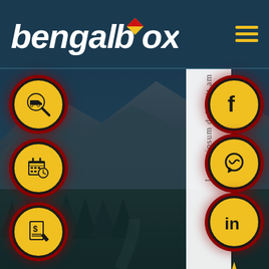[Figure (logo): BengalBox logo with white italic bold text and a diamond/box icon in red and yellow]
[Figure (illustration): Hamburger menu icon with three yellow horizontal bars]
[Figure (photo): Mountain landscape background photo with dark teal overlay]
[Figure (illustration): White vertical strip with lorem ipsum placeholder text running vertically]
[Figure (illustration): Three yellow circular icons on left: tracking/search icon, calendar/schedule icon, invoice/billing icon]
[Figure (illustration): Three yellow circular social media icons on right: Facebook, WhatsApp, LinkedIn, plus airplane icon below]